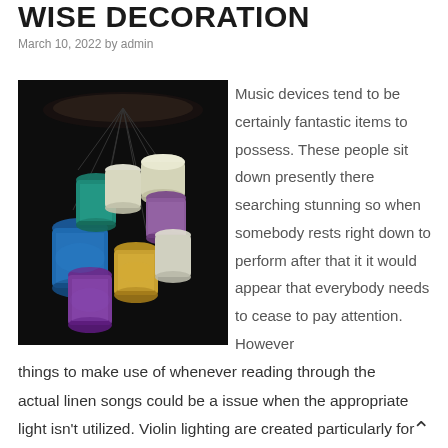WISE DECORATION
March 10, 2022 by admin
[Figure (photo): Colorful hanging pendant lamps with basket weave shades in various colors including blue, purple, teal, yellow, and white, photographed against a dark background.]
Music devices tend to be certainly fantastic items to possess. These people sit down presently there searching stunning so when somebody rests right down to perform after that it it would appear that everybody needs to cease to pay attention. However things to make use of whenever reading through the actual linen songs could be a issue when the appropriate light isn't utilized. Violin lighting are created particularly for this function and can definitely help the ball player